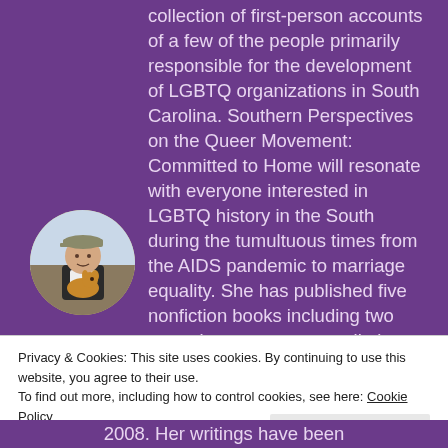collection of first-person accounts of a few of the people primarily responsible for the development of LGBTQ organizations in South Carolina. Southern Perspectives on the Queer Movement: Committed to Home will resonate with everyone interested in LGBTQ history in the South during the tumultuous times from the AIDS pandemic to marriage equality. She has published five nonfiction books including two memoirs, an essay compilation and two collections of her favorite blogs
[Figure (photo): Circular author photo showing a person wearing a cap and holding a dog, outdoors]
Privacy & Cookies: This site uses cookies. By continuing to use this website, you agree to their use.
To find out more, including how to control cookies, see here: Cookie Policy
Close and accept
2008. Her writings have been